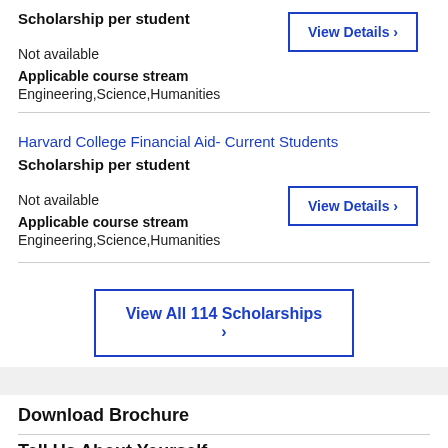Scholarship per student
Not available
Applicable course stream
Engineering,Science,Humanities
View Details ›
Harvard College Financial Aid- Current Students
Scholarship per student
Not available
Applicable course stream
Engineering,Science,Humanities
View Details ›
View All 114 Scholarships ›
Download Brochure
Tell Us About Yourself